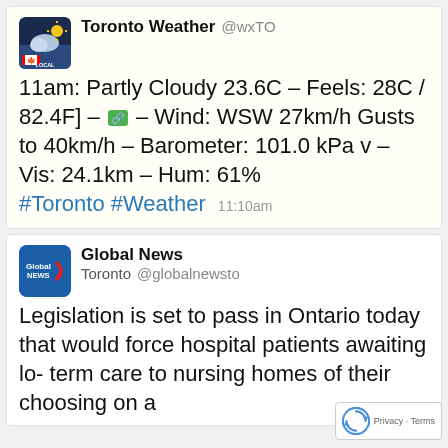[Figure (screenshot): Screenshot of two Twitter/social media posts. First post by Toronto Weather @wxTO with weather data. Second post by Global News Toronto @globalnewsto about Ontario legislation.]
Toronto Weather @wxTO
11am: Partly Cloudy 23.6C – Feels: 28C / 82.4F] – [link icon] – Wind: WSW 27km/h Gusts to 40km/h – Barometer: 101.0 kPa v – Vis: 24.1km – Hum: 61% #Toronto #Weather 11:10am
Global News Toronto @globalnewsto
Legislation is set to pass in Ontario today that would force hospital patients awaiting lo... term care to nursing homes of their choosing on a